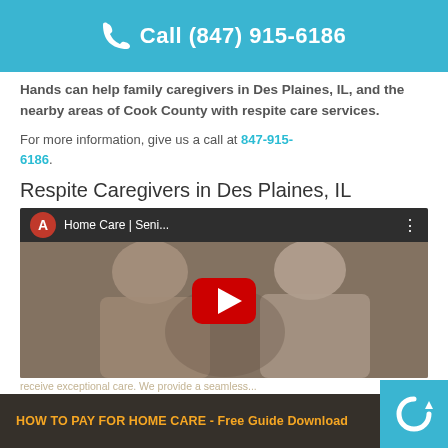Call (847) 915-6186
Hands can help family caregivers in Des Plaines, IL, and the nearby areas of Cook County with respite care services.
For more information, give us a call at 847-915-6186.
Respite Caregivers in Des Plaines, IL
[Figure (screenshot): YouTube video thumbnail showing Home Care | Seni... with a caregiver and elderly person, featuring a red YouTube play button in the center and a dark top bar with channel avatar and video title.]
HOW TO PAY FOR HOME CARE - Free Guide Download